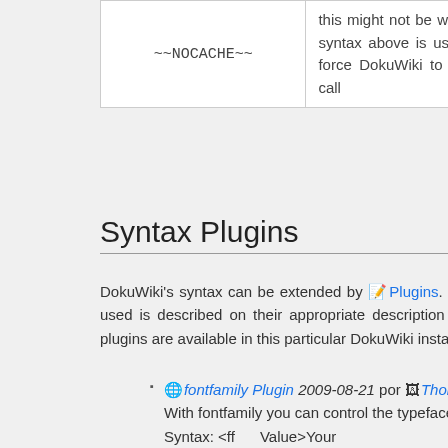|  |  |
| --- | --- |
| ~~NOCACHE~~ | this might not be wanted (eg. when the <php> syntax above is used), adding this macro will force DokuWiki to rerender a page on every call |
Syntax Plugins
DokuWiki's syntax can be extended by 📝Plugins. How the installed plugins are used is described on their appropriate description pages. The following syntax plugins are available in this particular DokuWiki installation:
🌐fontfamily Plugin 2009-08-21 por 🖼Thorsten Stratmann With fontfamily you can control the typeface of your text Syntax: <ff Value>Your